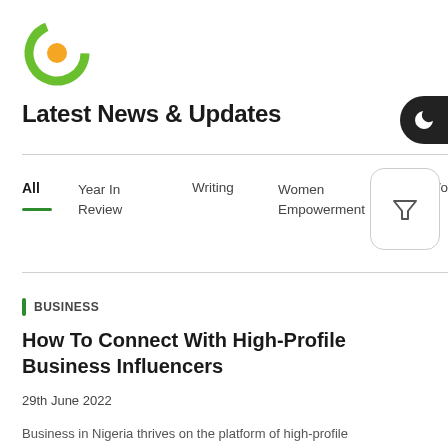[Figure (logo): Green and orange circular C logo]
Latest News & Updates
All
Year In Review
Writing
Women Empowerment
Women
BUSINESS
How To Connect With High-Profile Business Influencers
29th June 2022
Business in Nigeria thrives on the platform of high-profile